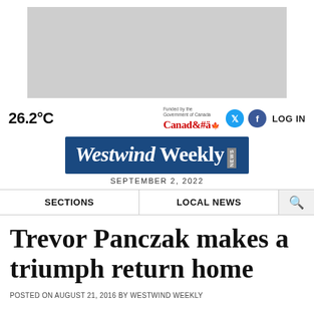[Figure (other): Grey advertisement banner placeholder]
26.2°C
[Figure (logo): Funded by the Government of Canada / Canada wordmark logo]
[Figure (logo): Twitter social icon button]
[Figure (logo): Facebook social icon button]
LOG IN
[Figure (logo): Westwind Weekly newspaper masthead logo in dark blue]
SEPTEMBER 2, 2022
SECTIONS
LOCAL NEWS
Trevor Panczak makes a triumph return home
POSTED ON AUGUST 21, 2016 BY WESTWIND WEEKLY